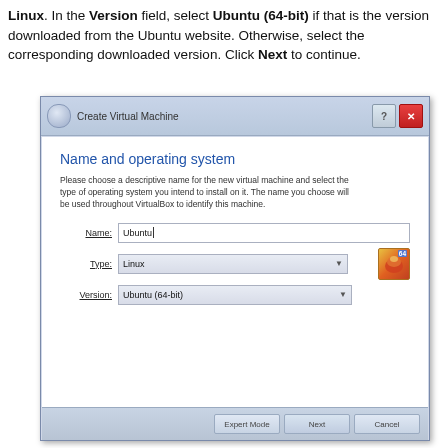Linux. In the Version field, select Ubuntu (64-bit) if that is the version downloaded from the Ubuntu website. Otherwise, select the corresponding downloaded version. Click Next to continue.
[Figure (screenshot): VirtualBox 'Create Virtual Machine' dialog showing Name and operating system screen. Name field contains 'Ubuntu', Type dropdown shows 'Linux', Version dropdown shows 'Ubuntu (64-bit)'. Bottom has Expert Mode, Next, and Cancel buttons.]